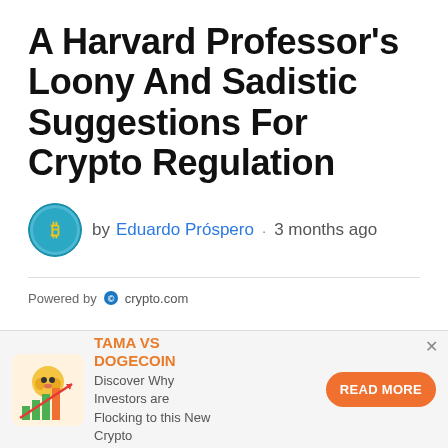A Harvard Professor's Loony And Sadistic Suggestions For Crypto Regulation
by Eduardo Próspero · 3 months ago
Powered by crypto.com
[Figure (infographic): Advertisement banner: Tama vs Dogecoin crypto ad with orange dog mascot and rising bar chart graphic, text: Discover Why Investors are Flocking to this New Crypto, with READ MORE button]